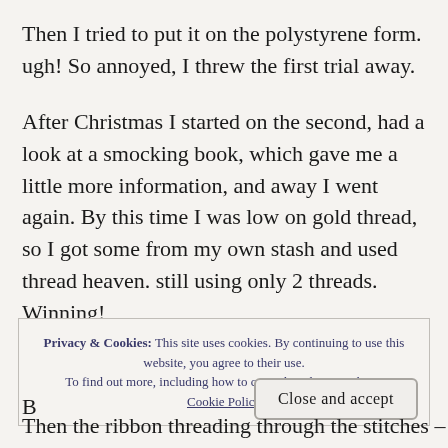Then I tried to put it on the polystyrene form. ugh! So annoyed, I threw the first trial away.
After Christmas I started on the second, had a look at a smocking book, which gave me a little more information, and away I went again. By this time I was low on gold thread, so I got some from my own stash and used thread heaven. still using only 2 threads. Winning!
Privacy & Cookies: This site uses cookies. By continuing to use this website, you agree to their use. To find out more, including how to control cookies, see here: Cookie Policy
Close and accept
B
Then the ribbon threading through the stitches –